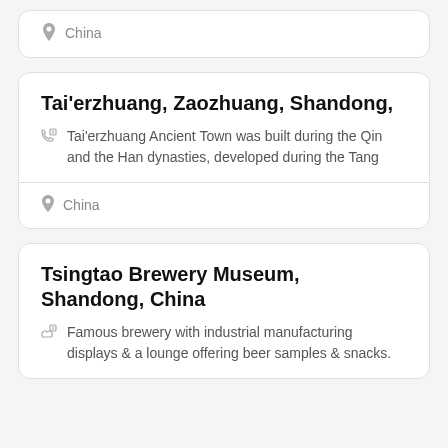China
Tai'erzhuang, Zaozhuang, Shandong,
Tai'erzhuang Ancient Town was built during the Qin and the Han dynasties, developed during the Tang
China
Tsingtao Brewery Museum, Shandong, China
Famous brewery with industrial manufacturing displays & a lounge offering beer samples & snacks.